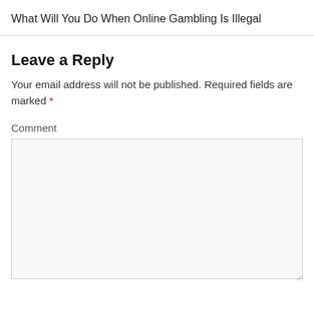What Will You Do When Online Gambling Is Illegal
Leave a Reply
Your email address will not be published. Required fields are marked *
Comment